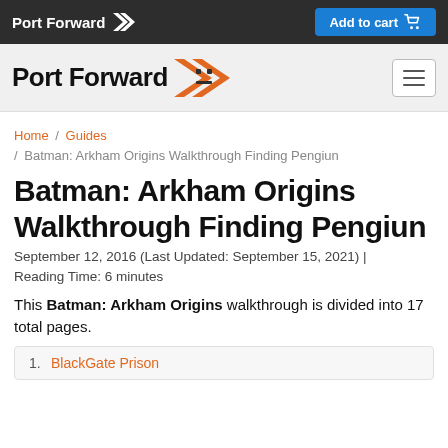Port Forward >> Add to cart
[Figure (logo): Port Forward logo with orange arrow on gray background navigation bar]
Home / Guides / Batman: Arkham Origins Walkthrough Finding Pengiun
Batman: Arkham Origins Walkthrough Finding Pengiun
September 12, 2016 (Last Updated: September 15, 2021) | Reading Time: 6 minutes
This Batman: Arkham Origins walkthrough is divided into 17 total pages.
1. BlackGate Prison